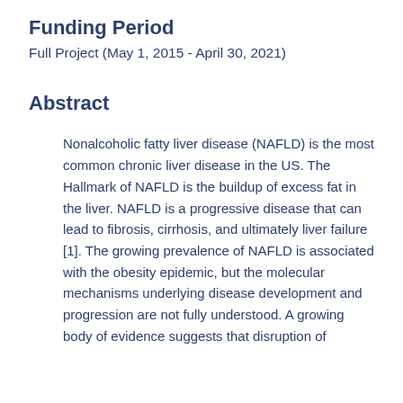Funding Period
Full Project (May 1, 2015 - April 30, 2021)
Abstract
Nonalcoholic fatty liver disease (NAFLD) is the most common chronic liver disease in the US. The Hallmark of NAFLD is the buildup of excess fat in the liver. NAFLD is a progressive disease that can lead to fibrosis, cirrhosis, and ultimately liver failure [1]. The growing prevalence of NAFLD is associated with the obesity epidemic, but the molecular mechanisms underlying disease development and progression are not fully understood. A growing body of evidence suggests that disruption of